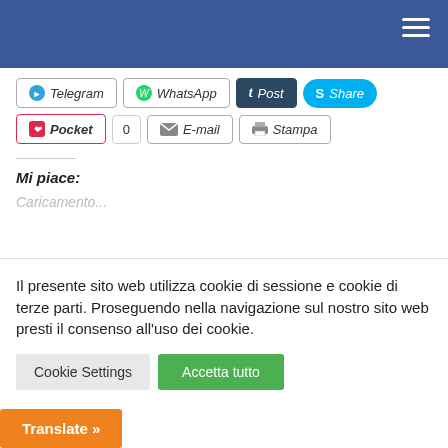Navigation header bar with hamburger menu
Telegram | WhatsApp | t Post | Share | Pocket | 0 | E-mail | Stampa
Mi piace:
Caricamento...
Il presente sito web utilizza cookie di sessione e cookie di terze parti. Proseguendo nella navigazione sul nostro sito web presti il consenso all'uso dei cookie.
Cookie Settings | Accetta tutto | Translate »